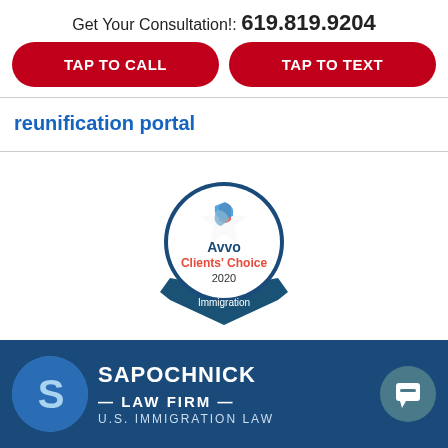Get Your Consultation!: 619.819.9204
[Figure (other): TAP TO CALL red button]
[Figure (other): TAP TO TEXT red button]
reunification portal
[Figure (logo): Avvo Clients' Choice 2020 Immigration badge]
[Figure (logo): Sapochnick Law Firm U.S. Immigration Law footer logo with S emblem and chat bubble]